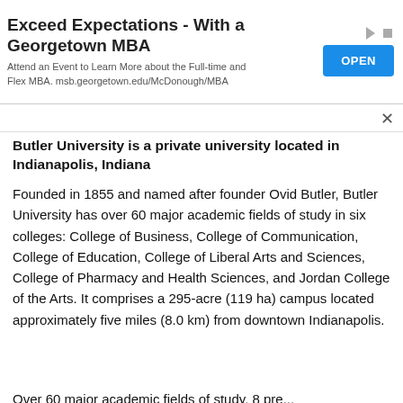[Figure (other): Advertisement banner for Georgetown MBA with 'OPEN' button. Text: 'Exceed Expectations - With a Georgetown MBA. Attend an Event to Learn More about the Full-time and Flex MBA. msb.georgetown.edu/McDonough/MBA']
Butler University is a private university located in Indianapolis, Indiana
Founded in 1855 and named after founder Ovid Butler, Butler University has over 60 major academic fields of study in six colleges: College of Business, College of Communication, College of Education, College of Liberal Arts and Sciences, College of Pharmacy and Health Sciences, and Jordan College of the Arts. It comprises a 295-acre (119 ha) campus located approximately five miles (8.0 km) from downtown Indianapolis.
Over 60 major academic fields of study, 8 pre...